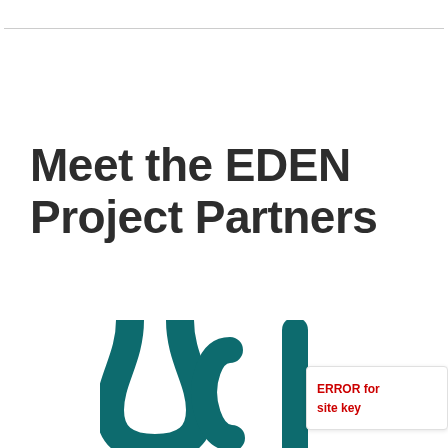Meet the EDEN Project Partners
[Figure (logo): Partial teal/dark cyan logo showing curved letterforms resembling 'ycl' — part of a larger organization logo cropped at the bottom of the page.]
ERROR for site key